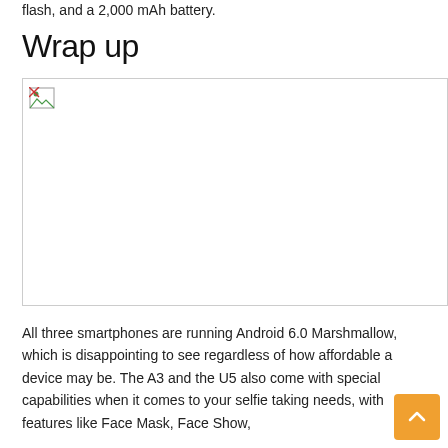flash, and a 2,000 mAh battery.
Wrap up
[Figure (photo): Broken/missing image placeholder for a wrap-up section image]
All three smartphones are running Android 6.0 Marshmallow, which is disappointing to see regardless of how affordable a device may be. The A3 and the U5 also come with special capabilities when it comes to your selfie taking needs, with features like Face Mask, Face Show,